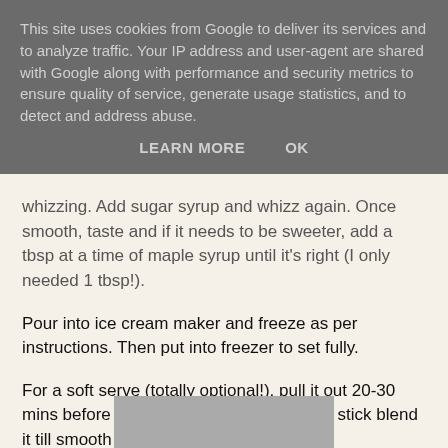This site uses cookies from Google to deliver its services and to analyze traffic. Your IP address and user-agent are shared with Google along with performance and security metrics to ensure quality of service, generate usage statistics, and to detect and address abuse.
LEARN MORE   OK
whizzing. Add sugar syrup and whizz again. Once smooth, taste and if it needs to be sweeter, add a tbsp at a time of maple syrup until it's right (I only needed 1 tbsp!).
Pour into ice cream maker and freeze as per instructions. Then put into freezer to set fully.
For a soft serve (totally optional!), pull it out 20-30 mins before you want to serve it and then stick blend it till smooth and easy to scoop.
Brekkie on sunday - wholewheat banana pancakes, with lots of maple syrup! SO good.
[Figure (photo): Partial image at bottom of page, appears to be food photo]